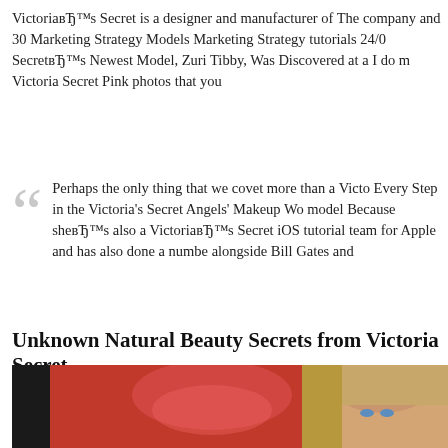VictoriaвЂ™s Secret is a designer and manufacturer of The company and 30 Marketing Strategy Models Marketing Strategy tutorials 24/0 SecretвЂ™s Newest Model, Zuri Tibby, Was Discovered at a I do m Victoria Secret Pink photos that you
Perhaps the only thing that we covet more than a Victo Every Step in the Victoria's Secret Angels' Makeup Wo model Because sheвЂ™s also a VictoriaвЂ™s Secret iOS tutorial team for Apple and has also done a numbe alongside Bill Gates and
Unknown Natural Beauty Secrets from Victoria Secret
[Figure (photo): Photo of Victoria's Secret model with blonde hair, red background with red lace lingerie visible]